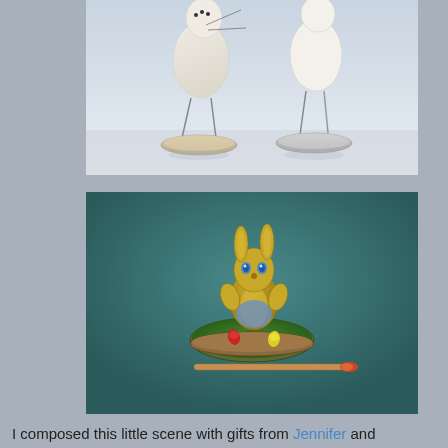[Figure (photo): Close-up photo of two small bird figurines with wire legs standing on circular wooden/metal bases, against a light background. The figures appear to be handmade craft items.]
[Figure (photo): Photo of a miniature yellow bunny figurine standing on a small green moss-covered base/log slice, with a matchstick placed in front for scale. Background is teal/dark green.]
I composed this little scene with gifts from Jennifer and